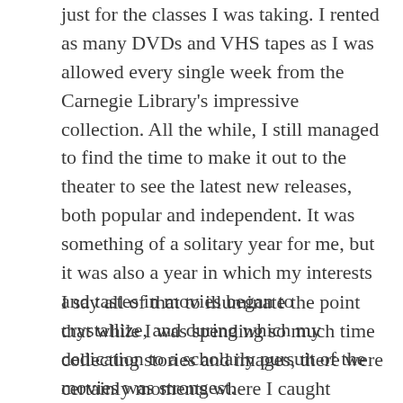just for the classes I was taking. I rented as many DVDs and VHS tapes as I was allowed every single week from the Carnegie Library's impressive collection. All the while, I still managed to find the time to make it out to the theater to see the latest new releases, both popular and independent. It was something of a solitary year for me, but it was also a year in which my interests and tastes in movies began to crystallize, and during which my dedication to a scholarly pursuit of the movies was strongest.
I say all of that to illuminate the point that while I was spending so much time collecting stories and images, there were certainly moments where I caught lightning in a bottle and experienced a film that would stay with me for years and through which I would gain a better understanding of the medium and of myself, there were